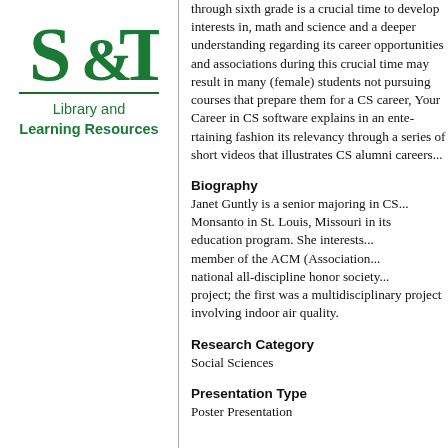[Figure (logo): S&T Library and Learning Resources logo: stylized green S&T letters with horizontal divider rule and text below]
through sixth grade is a crucial time to develop interests in, math and science and a deeper understanding regarding its career opportunities and associations during this crucial time may result in many (female) students not pursuing courses that prepare them for a CS career. Your Career in CS software explains in an entertaining fashion its relevancy through a series of short videos that illustrates CS alumni careers...
Biography
Janet Guntly is a senior majoring in CS... Monsanto in St. Louis, Miss... education program. She inte... member of the ACM (Associ... national all-discipline honor... project; the first was a multid... involving indoor air quality.
Research Category
Social Sciences
Presentation Type
Poster Presentation